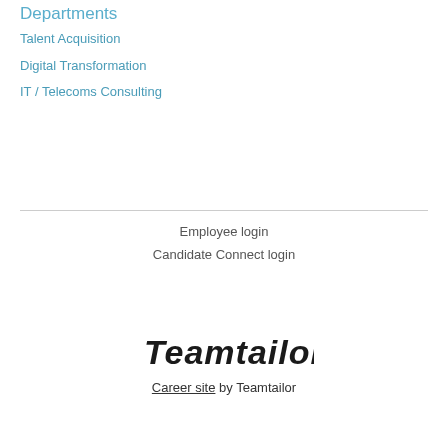Departments
Talent Acquisition
Digital Transformation
IT / Telecoms Consulting
Employee login
Candidate Connect login
[Figure (logo): Teamtailor logo in italic script font]
Career site by Teamtailor